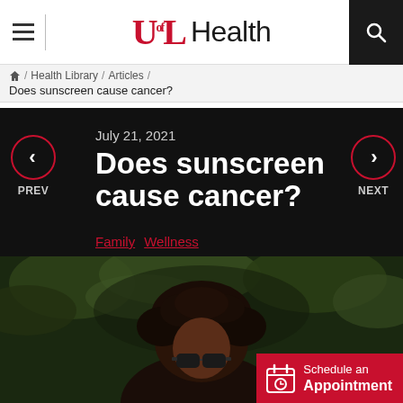UofL Health
Home / Health Library / Articles / Does sunscreen cause cancer?
July 21, 2021
Does sunscreen cause cancer?
Family  Wellness
[Figure (photo): Woman with curly hair wearing sunglasses outdoors, green foliage background]